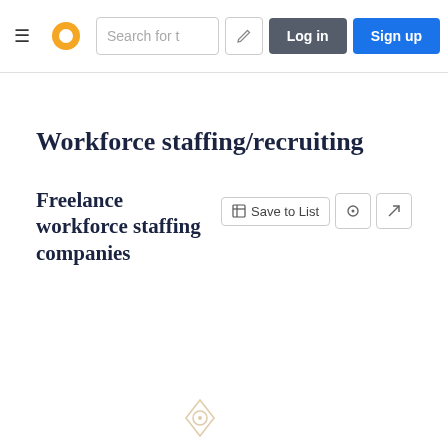≡ [logo] Search for t... [pencil] Log in  Sign up
Workforce staffing/recruiting
Freelance workforce staffing companies
[Figure (other): Partial donut/pie chart shown at the bottom of the page, in gold/tan color. Part of a circular arc visible along with a small circular logo/watermark icon at bottom center.]